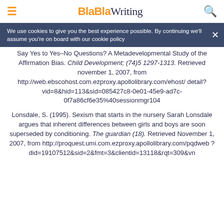BlaBlaWriting
We use cookies to give you the best experience possible. By continuing we'll assume you're on board with our cookie policy
Say Yes to Yes–No Questions? A Metadevelopmental Study of the Affirmation Bias. Child Development; (74)5 1297-1313. Retrieved november 1, 2007, from http://web.ebscohost.com.ezproxy.apollolibrary.com/ehost/detail?vid=8&hid=113&sid=085427c8-0e01-45e9-ad7c-0f7a86cf6e35%40sessionmgr104
Lonsdale, S. (1995). Sexism that starts in the nursery Sarah Lonsdale argues that inherent differences between girls and boys are soon superseded by conditioning. The guardian (18). Retrieved November 1, 2007, from http://proquest.umi.com.ezproxy.apollolibrary.com/pqdweb?did=19107512&sid=2&fmt=3&clientid=13118&rqt=309&vn